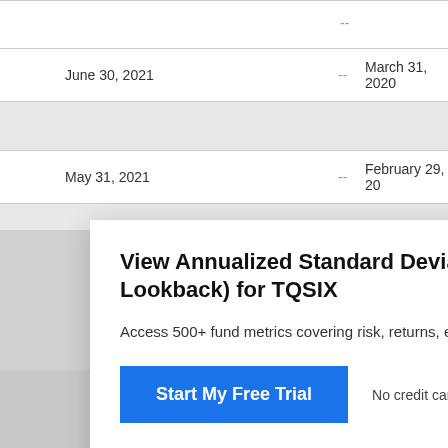| Date |  | Date |
| --- | --- | --- |
| June 30, 2021 | -- | March 31, 2020 |
| May 31, 2021 | -- | February 29, 20... |
View Annualized Standard Deviation of Monthly Lookback) for TQSIX
Access 500+ fund metrics covering risk, returns, exposu...
Start My Free Trial
No credit card required.
Already a subscriber? Sign in.